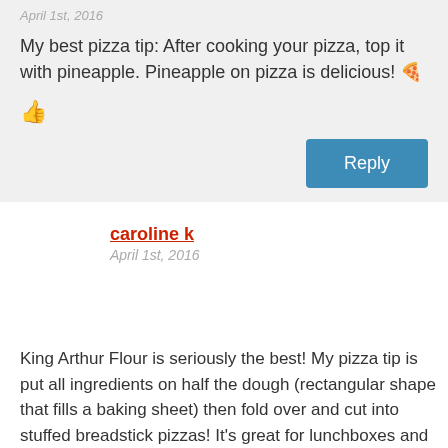April 1st, 2016
My best pizza tip: After cooking your pizza, top it with pineapple. Pineapple on pizza is delicious! 🍕
👍
Reply
caroline k
April 1st, 2016
King Arthur Flour is seriously the best! My pizza tip is put all ingredients on half the dough (rectangular shape that fills a baking sheet) then fold over and cut into stuffed breadstick pizzas! It's great for lunchboxes and to pack a few to go to sports etc.!